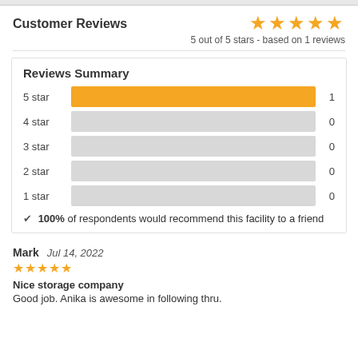Customer Reviews
[Figure (other): 5 orange stars rating display]
5 out of 5 stars - based on 1 reviews
Reviews Summary
[Figure (bar-chart): Reviews Summary]
✔ 100% of respondents would recommend this facility to a friend
Mark   Jul 14, 2022
[Figure (other): 5 orange stars reviewer rating]
Nice storage company
Good job. Anika is awesome in following thru.